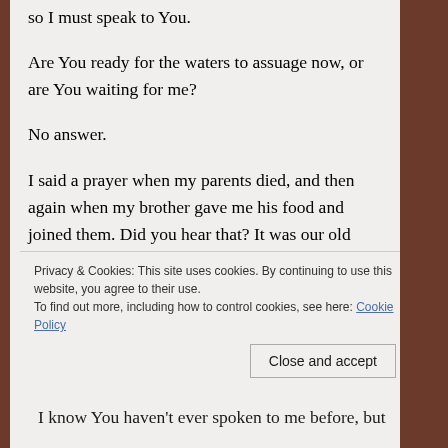so I must speak to You.
Are You ready for the waters to assuage now, or are You waiting for me?
No answer.
I said a prayer when my parents died, and then again when my brother gave me his food and joined them. Did you hear that? It was our old chant for the passage of the dead. There were no words of my own in there. I said it while I bound their hard bodies in the empty chickenfeed sacking and laid them in the rainwater– the flood
Privacy & Cookies: This site uses cookies. By continuing to use this website, you agree to their use. To find out more, including how to control cookies, see here: Cookie Policy
I know You haven't ever spoken to me before, but